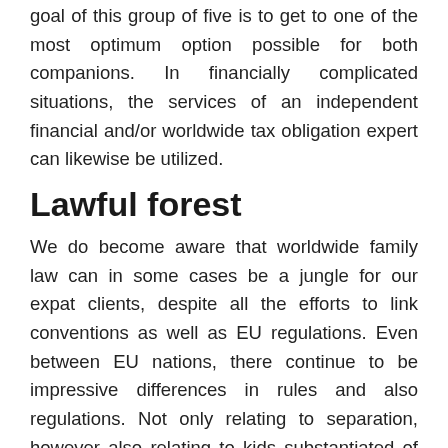goal of this group of five is to get to one of the most optimum option possible for both companions. In financially complicated situations, the services of an independent financial and/or worldwide tax obligation expert can likewise be utilized.
Lawful forest
We do become aware that worldwide family law can in some cases be a jungle for our expat clients, despite all the efforts to link conventions as well as EU regulations. Even between EU nations, there continue to be impressive differences in rules and also regulations. Not only relating to separation, however also relating to kids substantiated of an